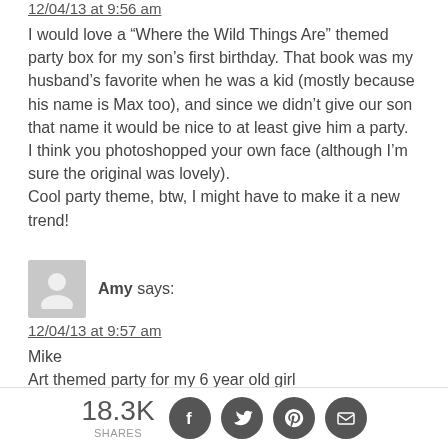12/04/13 at 9:56 am
I would love a “Where the Wild Things Are” themed party box for my son’s first birthday. That book was my husband’s favorite when he was a kid (mostly because his name is Max too), and since we didn’t give our son that name it would be nice to at least give him a party.
I think you photoshopped your own face (although I’m sure the original was lovely).
Cool party theme, btw, I might have to make it a new trend!
[Figure (illustration): Gray avatar placeholder icon of a person silhouette]
Amy says:
12/04/13 at 9:57 am
Mike
Art themed party for my 6 year old girl
18.3K SHARES